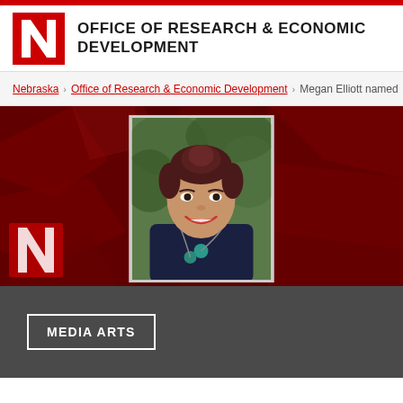OFFICE OF RESEARCH & ECONOMIC DEVELOPMENT
Nebraska › Office of Research & Economic Development › Megan Elliott named
[Figure (photo): Portrait photo of Megan Elliott, a woman with an updo hairstyle wearing a dark navy top and a teal pendant necklace, smiling, set against a dark red background with aerial imagery of a campus]
MEDIA ARTS